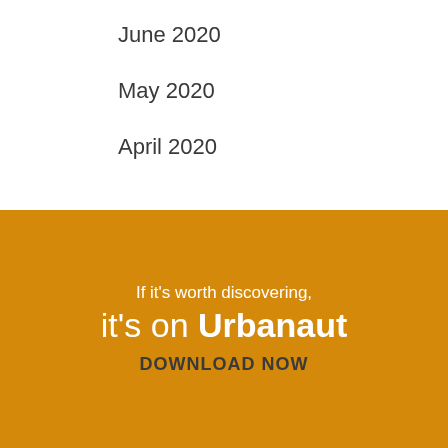June 2020
May 2020
April 2020
If it's worth discovering,
it's on Urbanaut
DOWNLOAD NOW